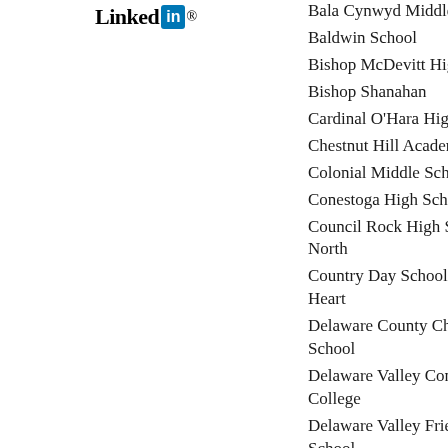[Figure (logo): LinkedIn logo with text 'Linked' followed by 'in' in a blue rounded rectangle, followed by a registered trademark symbol]
Bala Cynwyd Middle S[chool]
Baldwin School
Bishop McDevitt High [School]
Bishop Shanahan
Cardinal O'Hara High S[chool]
Chestnut Hill Academy
Colonial Middle Schoo[l]
Conestoga High Schoo[l]
Council Rock High Sch[ool] North
Country Day School of [the Sacred] Heart
Delaware County Chris[tian] School
Delaware Valley Comm[unity] College
Delaware Valley Friend[s] School
Devon Prep
Downingtown East Hig[h] School